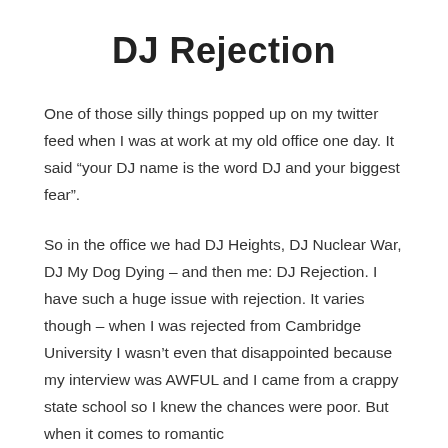DJ Rejection
One of those silly things popped up on my twitter feed when I was at work at my old office one day. It said “your DJ name is the word DJ and your biggest fear”.
So in the office we had DJ Heights, DJ Nuclear War, DJ My Dog Dying – and then me: DJ Rejection. I have such a huge issue with rejection. It varies though – when I was rejected from Cambridge University I wasn’t even that disappointed because my interview was AWFUL and I came from a crappy state school so I knew the chances were poor. But when it comes to romantic